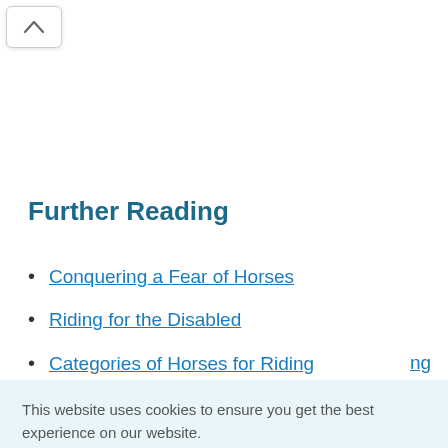[Figure (other): Scroll-up button with caret/chevron icon in top left corner]
Further Reading
Conquering a Fear of Horses
Riding for the Disabled
Categories of Horses for Riding
This website uses cookies to ensure you get the best experience on our website. Cookie Policy
Got it!